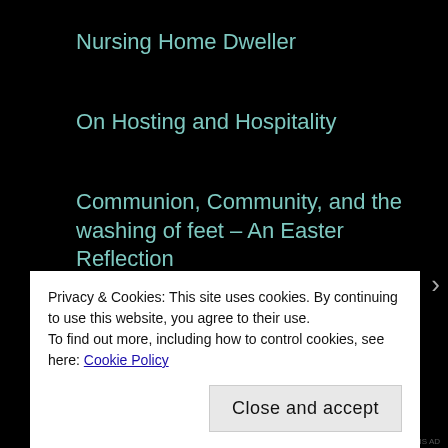Nursing Home Dweller
On Hosting and Hospitality
Communion, Community, and the washing of feet – An Easter Reflection
More than just a garden (2)
The annual catch-up…
Privacy & Cookies: This site uses cookies. By continuing to use this website, you agree to their use.
To find out more, including how to control cookies, see here: Cookie Policy
Close and accept